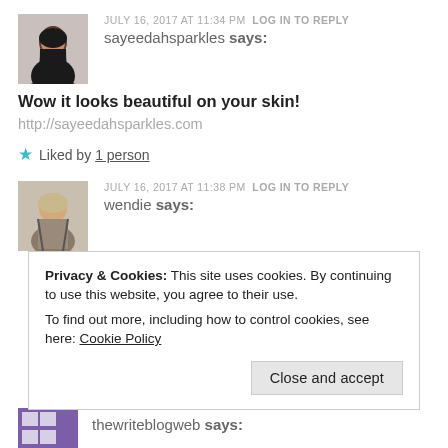JULY 16, 2017 AT 11:34 PM  LOG IN TO REPLY
sayeedahsparkles says:
Wow it looks beautiful on your skin!
http://sayeedahsparkles.com
★ Liked by 1 person
JULY 16, 2017 AT 11:38 PM  LOG IN TO REPLY
wendie says:
Privacy & Cookies: This site uses cookies. By continuing to use this website, you agree to their use.
To find out more, including how to control cookies, see here: Cookie Policy
Close and accept
thewriteblogweb says: